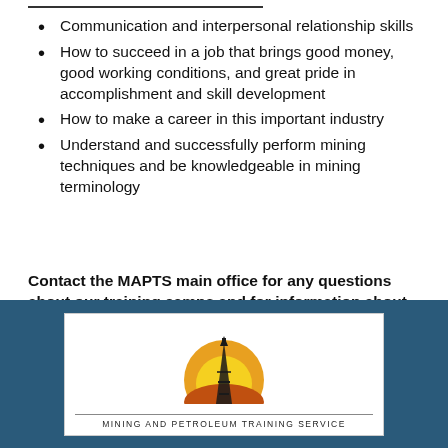Communication and interpersonal relationship skills
How to succeed in a job that brings good money, good working conditions, and great pride in accomplishment and skill development
How to make a career in this important industry
Understand and successfully perform mining techniques and be knowledgeable in mining terminology
Contact the MAPTS main office for any questions about our training camps and for information about how to apply.
Call: 907-262-0231, or email: mapts@alaska.edu.
[Figure (logo): Mining and Petroleum Training Service logo with oil derrick silhouette against orange/yellow background, with text 'MINING AND PETROLEUM TRAINING SERVICE' below]